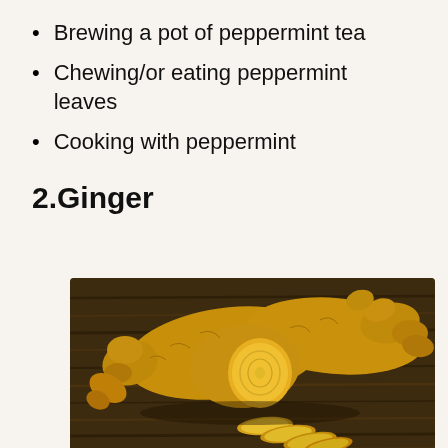Brewing a pot of peppermint tea
Chewing/or eating peppermint leaves
Cooking with peppermint
2.Ginger
[Figure (photo): Photo of fresh ginger root pieces on a dark wooden surface, with one piece cut to show yellow interior and several thin slices in front]